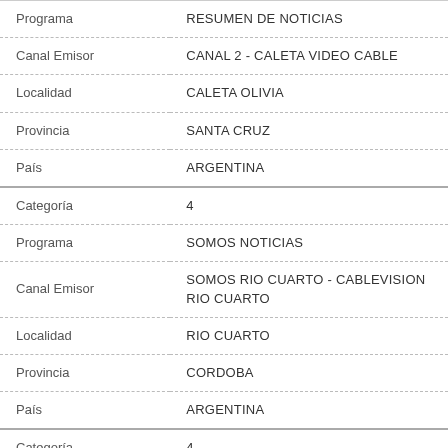| Programa | RESUMEN DE NOTICIAS |
| Canal Emisor | CANAL 2 - CALETA VIDEO CABLE |
| Localidad | CALETA OLIVIA |
| Provincia | SANTA CRUZ |
| País | ARGENTINA |
| Categoría | 4 |
| Programa | SOMOS NOTICIAS |
| Canal Emisor | SOMOS RIO CUARTO - CABLEVISION RIO CUARTO |
| Localidad | RIO CUARTO |
| Provincia | CORDOBA |
| País | ARGENTINA |
| Categoría | 4 |